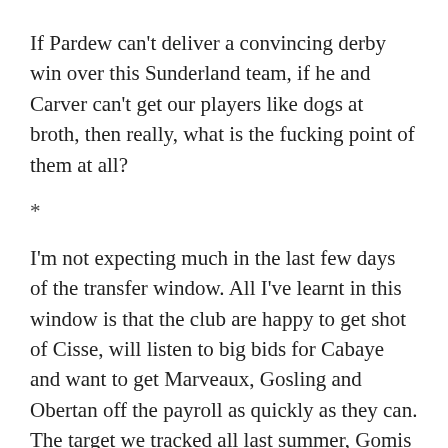If Pardew can't deliver a convincing derby win over this Sunderland team, if he and Carver can't get our players like dogs at broth, then really, what is the fucking point of them at all?
*
I'm not expecting much in the last few days of the transfer window. All I've learnt in this window is that the club are happy to get shot of Cisse, will listen to big bids for Cabaye and want to get Marveaux, Gosling and Obertan off the payroll as quickly as they can. The target we tracked all last summer, Gomis now seems to be on his way to Inter Milan with us showing absolutely no interest whatsoever. Luuk De Jong appears to be our only credible target and that deal has no urgency about it because we are in no danger of being relegated and the